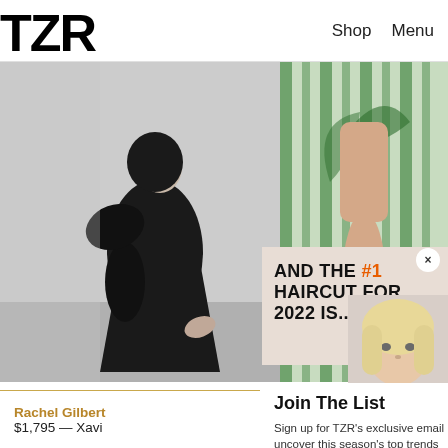TZR  Shop  Menu
[Figure (photo): Black and white photo of a woman in a black dress, crouching/bending, viewed from the side/back]
[Figure (photo): Partial photo of a woman in a green and white striped outfit]
AND THE #1 HAIRCUT FOR 2022 IS...
[Figure (photo): Small cropped photo of a blonde woman's face/head]
Join The List
Sign up for TZR's exclusive email list to uncover this season's top trends
Email address  Subscribe
Rachel Gilbert  $1,795 — Xavi